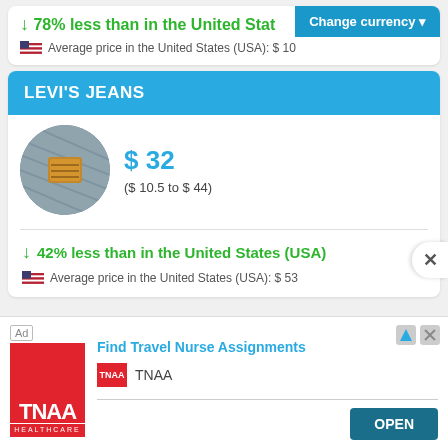78% less than in the United States (USA)
Change currency
Average price in the United States (USA): $ 10
LEVI'S JEANS
[Figure (photo): Circular photo of Levi's jeans fabric showing the back pocket label]
$ 32
($ 10.5 to $ 44)
42% less than in the United States (USA)
Average price in the United States (USA): $ 53
Ad
[Figure (logo): TNAA Healthcare logo - red square with TNAA text and HEALTHCARE below]
Find Travel Nurse Assignments
TNAA
OPEN